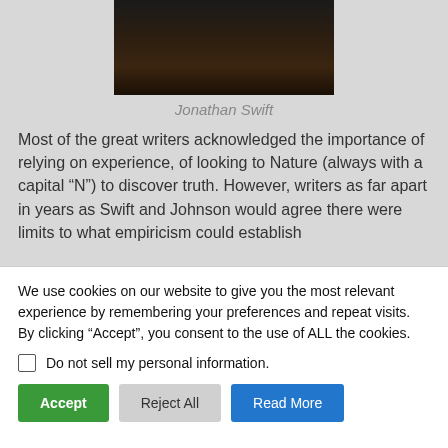[Figure (photo): Dark portrait photograph of Jonathan Swift, partially visible, cropped at top]
Jonathan Swift
Most of the great writers acknowledged the importance of relying on experience, of looking to Nature (always with a capital “N”) to discover truth. However, writers as far apart in years as Swift and Johnson would agree there were limits to what empiricism could establish
We use cookies on our website to give you the most relevant experience by remembering your preferences and repeat visits. By clicking “Accept”, you consent to the use of ALL the cookies.
Do not sell my personal information.
Accept   Reject All   Read More